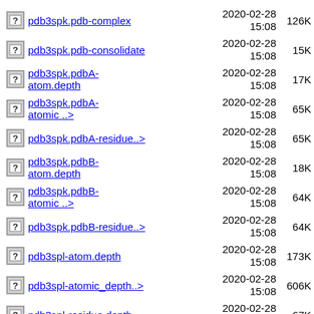pdb3spk.pdb-complex 2020-02-28 15:08 126K
pdb3spk.pdb-consolidate 2020-02-28 15:08 15K
pdb3spk.pdbA-atom.depth 2020-02-28 15:08 17K
pdb3spk.pdbA-atomic ..> 2020-02-28 15:08 65K
pdb3spk.pdbA-residue..> 2020-02-28 15:08 65K
pdb3spk.pdbB-atom.depth 2020-02-28 15:08 18K
pdb3spk.pdbB-atomic ..> 2020-02-28 15:08 64K
pdb3spk.pdbB-residue..> 2020-02-28 15:08 64K
pdb3spl-atom.depth 2020-02-28 15:08 173K
pdb3spl-atomic_depth..> 2020-02-28 15:08 606K
pdb3spl-residue.depth 2020-02-28 15:08 67K